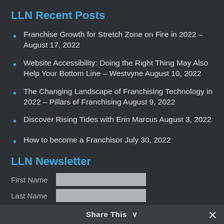LLN Recent Posts
Franchise Growth for Stretch Zone on Fire in 2022 – August 17, 2022
Website Accessibility: Doing the Right Thing May Also Help Your Bottom Line – Westvyne August 10, 2022
The Changing Landscape of Franchising Technology in 2022 – Pillars of Franchising August 9, 2022
Discover Rising Tides with Erin Marcus August 3, 2022
How to become a Franchisor July 30, 2022
LLN Newsletter
First Name
Last Name
Share This ∨